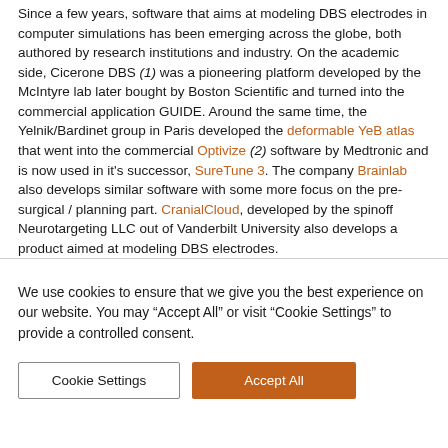Since a few years, software that aims at modeling DBS electrodes in computer simulations has been emerging across the globe, both authored by research institutions and industry. On the academic side, Cicerone DBS (1) was a pioneering platform developed by the McIntyre lab later bought by Boston Scientific and turned into the commercial application GUIDE. Around the same time, the Yelnik/Bardinet group in Paris developed the deformable YeB atlas that went into the commercial Optivize (2) software by Medtronic and is now used in it's successor, SureTune 3. The company Brainlab also develops similar software with some more focus on the pre-surgical / planning part. CranialCloud, developed by the spinoff Neurotargeting LLC out of Vanderbilt University also develops a product aimed at modeling DBS electrodes.
We use cookies to ensure that we give you the best experience on our website. You may "Accept All" or visit "Cookie Settings" to provide a controlled consent.